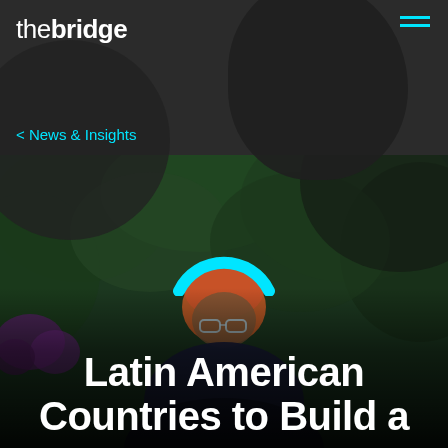the bridge
< News & Insights
[Figure (photo): Person with reddish/orange hair sitting outdoors in front of lush green foliage, looking down, with purple flowers visible on the left. A cyan arch/semicircle logo mark is overlaid on the image.]
Latin American Countries to Build a